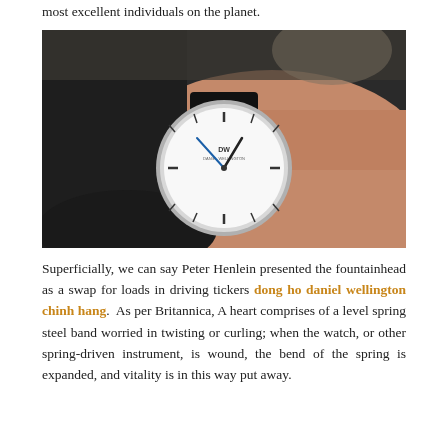most excellent individuals on the planet.
[Figure (photo): Close-up photograph of a wrist wearing a Daniel Wellington watch with a white minimalist dial and black leather strap, against a dark background.]
Superficially, we can say Peter Henlein presented the fountainhead as a swap for loads in driving tickers dong ho daniel wellington chinh hang. As per Britannica, A heart comprises of a level spring steel band worried in twisting or curling; when the watch, or other spring-driven instrument, is wound, the bend of the spring is expanded, and vitality is in this way put away.